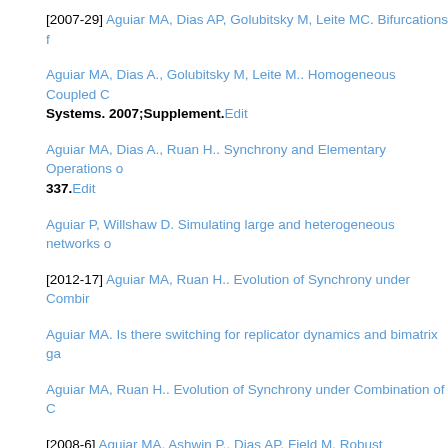[2007-29] Aguiar MA, Dias AP, Golubitsky M, Leite MC. Bifurcations f
Aguiar MA, Dias A., Golubitsky M, Leite M.. Homogeneous Coupled C Systems. 2007;Supplement.Edit
Aguiar MA, Dias A., Ruan H.. Synchrony and Elementary Operations o 337.Edit
Aguiar P, Willshaw D. Simulating large and heterogeneous networks o
[2012-17] Aguiar MA, Ruan H.. Evolution of Synchrony under Combir
Aguiar MA. Is there switching for replicator dynamics and bimatrix ga
Aguiar MA, Ruan H.. Evolution of Synchrony under Combination of C
[2008-6] Aguiar MA, Ashwin P., Dias AP, Field M. Robust heteroclinic
Aguiar P, Mendonça L, Galhardo V. OpenControl: a free opensource s of neuroscience methods. 2007;166:66-72.Edit
Aguiar MA, Dias AP. The Lattice of Synchrony Subspaces of a Coupled Nonlinear Science.Edit
Aguiar P, Horta R, Monteiro D, Silva A, Amarante JM. Evaluation of a